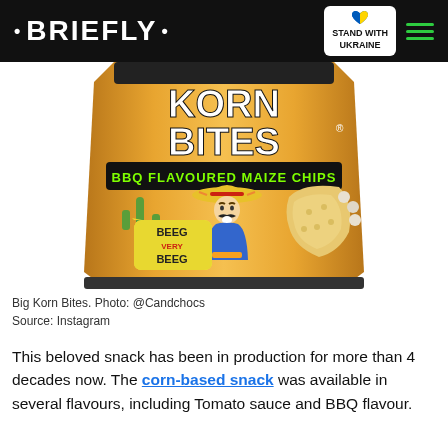• BRIEFLY • | STAND WITH UKRAINE
[Figure (photo): Big Korn Bites BBQ Flavoured Maize Chips bag featuring a cartoon Mexican character with sombrero, cactus, and corn chips with text 'BEEG VERY BEEG']
Big Korn Bites. Photo: @Candchocs
Source: Instagram
This beloved snack has been in production for more than 4 decades now. The corn-based snack was available in several flavours, including Tomato sauce and BBQ flavour.